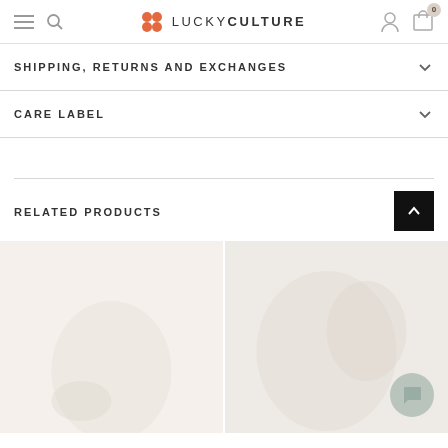LUCKY CULTURE — navigation bar with hamburger, search, logo, user and cart icons
SHIPPING, RETURNS AND EXCHANGES
CARE LABEL
RELATED PRODUCTS
[Figure (photo): Two product photos side by side below the Related Products header — left card shows a faint floral/garment image on light beige background, right card shows similar light floral garment on slightly darker beige with a green chat bubble icon in the bottom right corner]